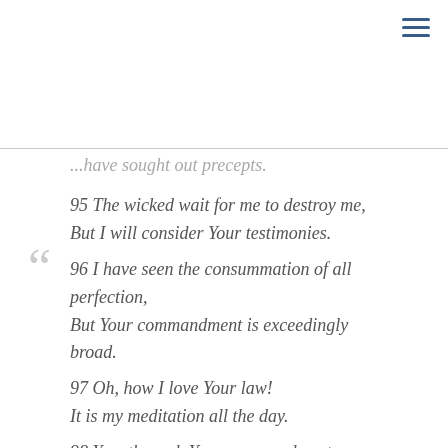☰
...have sought out precepts.
95 The wicked wait for me to destroy me, But I will consider Your testimonies. 96 I have seen the consummation of all perfection, But Your commandment is exceedingly broad. 97 Oh, how I love Your law! It is my meditation all the day. 98 You, through Your commandments, make me wiser than my enemies; For they are ever with me. 99 I have more understanding than all my